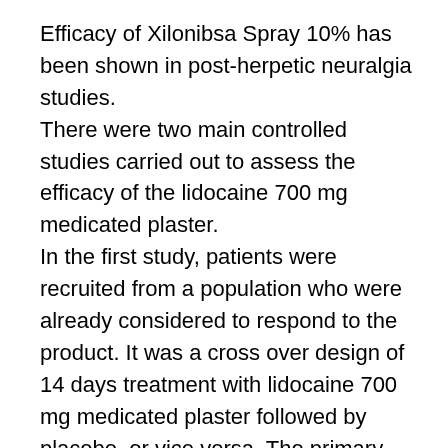Efficacy of Xilonibsa Spray 10% has been shown in post-herpetic neuralgia studies. There were two main controlled studies carried out to assess the efficacy of the lidocaine 700 mg medicated plaster. In the first study, patients were recruited from a population who were already considered to respond to the product. It was a cross over design of 14 days treatment with lidocaine 700 mg medicated plaster followed by placebo, or vice versa. The primary endpoint was the time to exit, where patients withdrew because their pain relief was two points lower than their normal response on a six point scale (ranging from worse to complete relief). There were 32 patients, of whom 30 completed. The median time to exit for placebo